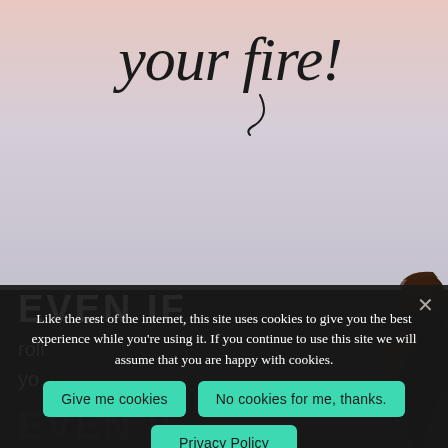[Figure (photo): Background image with pinkish-gray gradient sky, a partial figure/person on the right side, and dark lower section. Handwriting text 'your fire!' visible at top center-right.]
your fire!
EVEN IF
roll
yo
EVEN IF
Like the rest of the internet, this site uses cookies to give you the best experience while you're using it. If you continue to use this site we will assume that you are happy with cookies.
Give me cookies
No cookies for me, thanks.
Privacy Policy